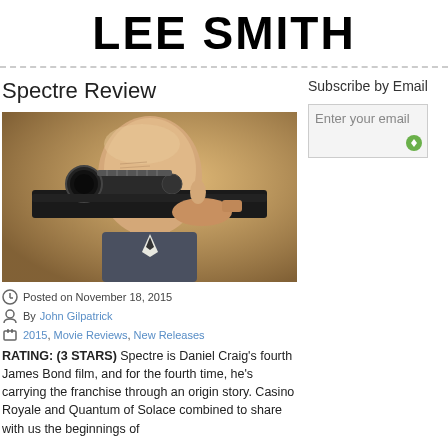LEE SMITH
Spectre Review
[Figure (photo): Close-up of a man aiming a rifle with a scope directly at the viewer]
Posted on November 18, 2015
By John Gilpatrick
2015, Movie Reviews, New Releases
RATING: (3 STARS) Spectre is Daniel Craig's fourth James Bond film, and for the fourth time, he's carrying the franchise through an origin story. Casino Royale and Quantum of Solace combined to share with us the beginnings of
Subscribe by Email
Enter your email